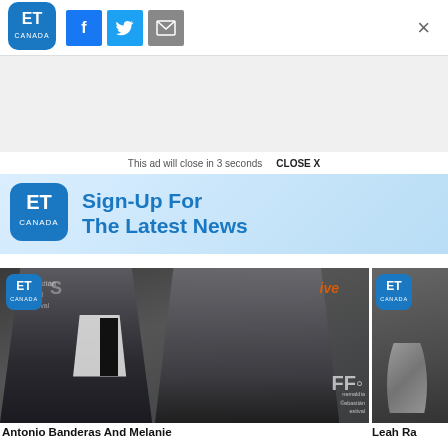[Figure (logo): ET Canada logo in blue rounded square]
[Figure (logo): Social sharing buttons: Facebook (blue), Twitter (light blue), Email (grey), and close X button]
[Figure (infographic): Grey advertisement placeholder area]
This ad will close in 3 seconds   CLOSE X
[Figure (infographic): ET Canada Sign-Up For The Latest News advertisement banner with ET Canada logo on blue gradient background]
[Figure (photo): Antonio Banderas and Melanie at what appears to be a film festival, man in black suit with white shirt and tie, woman in black dress, festival backdrop visible]
[Figure (photo): Leah R... partial photo visible on right side]
Antonio Banderas And Melanie
Leah Ra...